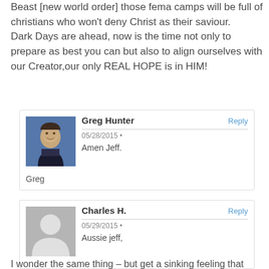Beast [new world order] those fema camps will be full of christians who won't deny Christ as their saviour.
Dark Days are ahead, now is the time not only to prepare as best you can but also to align ourselves with our Creator,our only REAL HOPE is in HIM!
Greg Hunter
Reply
05/28/2015 •
Amen Jeff.
Greg
Charles H.
Reply
05/29/2015 •
Aussie jeff,
I wonder the same thing – but get a sinking feeling that getting to that OWG won't be
I wonder the same thing – but get a sinking feeling that getting to that OWG won't be